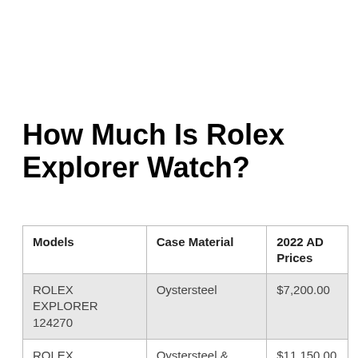How Much Is Rolex Explorer Watch?
| Models | Case Material | 2022 AD Prices |
| --- | --- | --- |
| ROLEX EXPLORER 124270 | Oystersteel | $7,200.00 |
| ROLEX EXPLORER 124273 | Oystersteel & Yellow Gold | $11,150.00 |
| ROLEX |  |  |